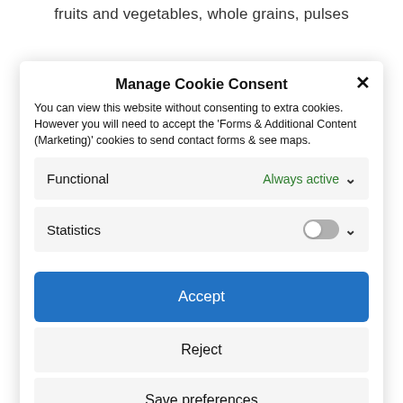fruits and vegetables, whole grains, pulses
Manage Cookie Consent
You can view this website without consenting to extra cookies. However you will need to accept the 'Forms & Additional Content (Marketing)' cookies to send contact forms & see maps.
Functional
Always active
Statistics
Accept
Reject
Save preferences
Cookie Policy   Privacy Policy